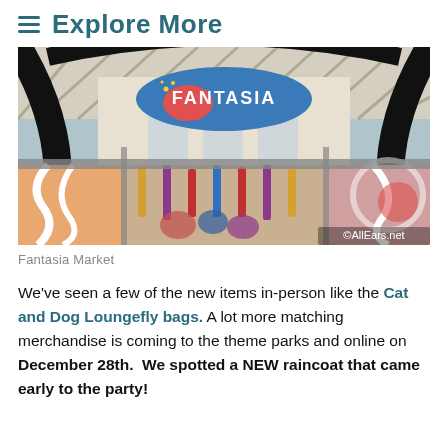Explore More
[Figure (photo): Exterior view of Fantasia Market shop at a Disney theme park, showing the colorful Fantasia-themed signage and display windows with merchandise. Photo credit: ©AllEars.net]
Fantasia Market
We've seen a few of the new items in-person like the Cat and Dog Loungefly bags. A lot more matching merchandise is coming to the theme parks and online on December 28th. We spotted a NEW raincoat that came early to the party!